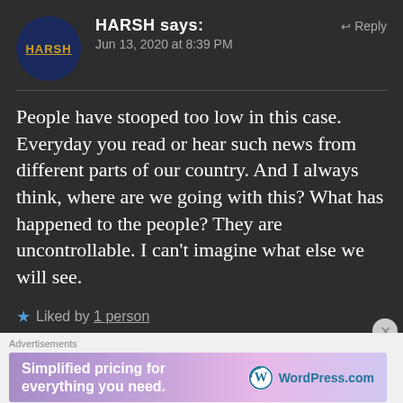HARSH says:
Jun 13, 2020 at 8:39 PM
People have stooped too low in this case. Everyday you read or hear such news from different parts of our country. And I always think, where are we going with this? What has happened to the people? They are uncontrollable. I can't imagine what else we will see.
Liked by 1 person
Advertisements
Simplified pricing for everything you need.